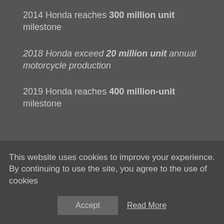2014 Honda reaches 300 million unit milestone
2018 Honda exceed 20 million unit annual motorcycle production
2019 Honda reaches 400 million-unit milestone
This website uses cookies to improve your experience. By continuing to use the site, you agree to the use of cookies
Accept   Read More